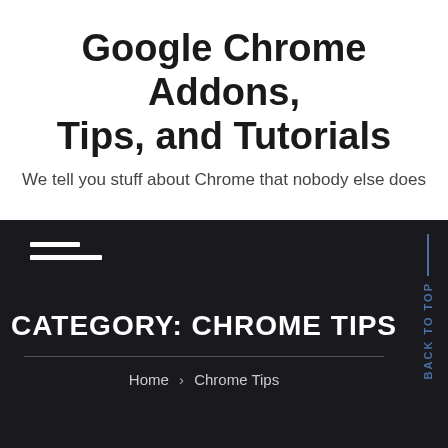Google Chrome Addons, Tips, and Tutorials
We tell you stuff about Chrome that nobody else does
[Figure (other): Hamburger menu icon (two white horizontal bars on dark background)]
CATEGORY: CHROME TIPS
Home > Chrome Tips